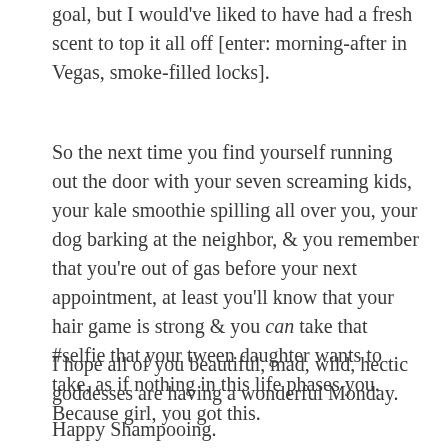goal, but I would've liked to have had a fresh scent to top it all off [enter: morning-after in Vegas, smoke-filled locks].
So the next time you find yourself running out the door with your seven screaming kids, your kale smoothie spilling all over you, your dog barking at the neighbor, & you remember that you're out of gas before your next appointment, at least you'll know that your hair game is strong & you can take that #selfie that your tween daughter wants to take, as if nothing in this life phases you. Because girl, you got this.
I hope all of you beautiful, mad, wild, hectic goddesses are having a wonderful Monday.
Happy Shampooing.